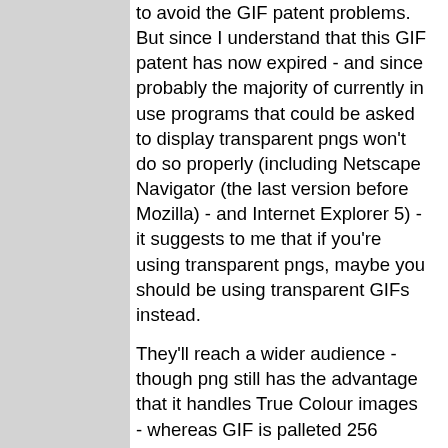to avoid the GIF patent problems. But since I understand that this GIF patent has now expired - and since probably the majority of currently in use programs that could be asked to display transparent pngs won't do so properly (including Netscape Navigator (the last version before Mozilla) - and Internet Explorer 5) - it suggests to me that if you're using transparent pngs, maybe you should be using transparent GIFs instead.
They'll reach a wider audience - though png still has the advantage that it handles True Colour images - whereas GIF is palleted 256 colours max.
DKF: PNG actually lets you specify 32-bit RGBA (with a full alpha channel) so it is way more sophisticated than GIF (256 colours, of which one may be nominated to be transparent.)
Duoas Just as a side note: GIFs are not limited to 256-colors. You can make TrueColor GIFs easily. The problem is that everyone believes that they are limited to 256 colors, and a lot of application code (most notably in browsers) will actually add a short pause (typically 1/10th second) between image